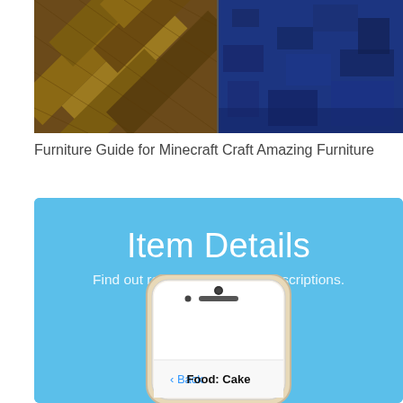[Figure (screenshot): Two Minecraft screenshots side by side: left showing wooden plank floor pattern, right showing dark blue textured surface]
Furniture Guide for Minecraft Craft Amazing Furniture
[Figure (screenshot): App promotional screenshot on blue background showing 'Item Details' heading, subtitle 'Find out required items and descriptions.' and a smartphone displaying 'Food: Cake' screen with Back button]